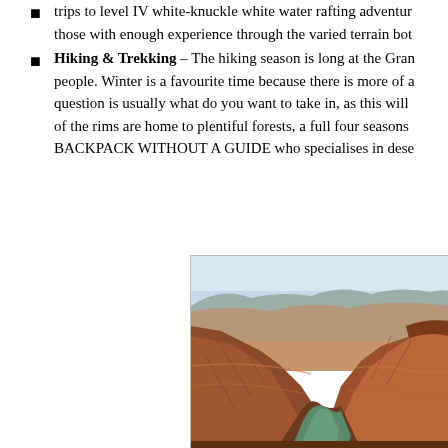trips to level IV white-knuckle white water rafting adventures, those with enough experience through the varied terrain both
Hiking & Trekking – The hiking season is long at the Grand Canyon and it is suited to most people. Winter is a favourite time because there is more of a question is usually what do you want to take in, as this will of the rims are home to plentiful forests, a full four seasons BACKPACK WITHOUT A GUIDE who specialises in desert
[Figure (photo): Aerial/elevated view of the Grand Canyon showing dramatic red rock cliffs, canyon walls, and the Colorado River winding through the canyon bottom with green water, set against a pale blue sky.]